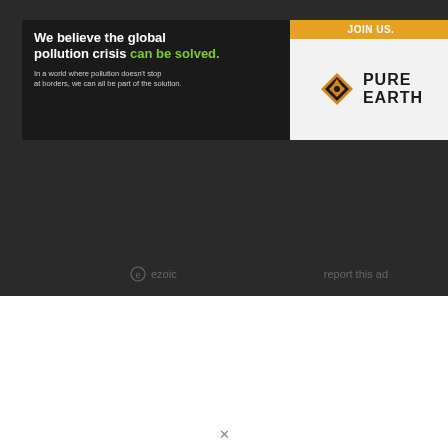[Figure (advertisement): Pure Earth advertisement banner. Dark background left side with white bold text: 'We believe the global pollution crisis can be solved.' with 'can be solved.' in green. Smaller white text: 'In a world where pollution doesn't stop at borders, we can all be part of the solution.' Right side white background with orange 'JOIN US.' bar at top, Pure Earth diamond logo and 'PURE EARTH' text below.]
ezoic
report this ad
[Figure (advertisement): Direct Relief advertisement. Orange rectangular banner with bold white text: 'Help send medical aid to Ukraine >>' on the left, and the Direct Relief logo (white bird/envelope icon) with 'DirectRelief' text in white on the right.]